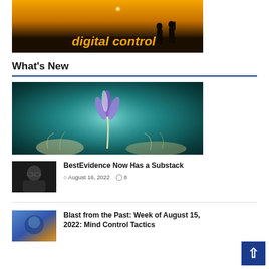[Figure (photo): Banner image with silhouette of two people on a sunset background with text 'digital control' in orange italic bold font]
What's New
[Figure (photo): Close-up photo of a purple crocus flower against a teal/dark background]
[Figure (photo): Small thumbnail photo of a man with glasses on dark background]
BestEvidence Now Has a Substack
August 16, 2022   8
[Figure (photo): Small thumbnail photo with blue and brown tones showing an abstract or brain-related image]
Blast from the Past: Week of August 15, 2022: Mind Control Tactics